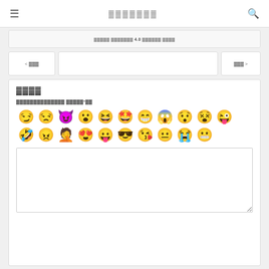≡  ▓▓▓▓▓▓▓  🔍
< ▓▓▓▓  ▓▓▓ ▓▓▓▓▓▓ 4.0 ▓▓▓▓▓▓ ▓▓▓▓  ▓▓▓ >
< 이전  다음 >
▓▓▓▓
▓▓▓▓▓▓▓▓▓▓▓▓▓▓ ▓▓▓▓▓*▓▓
[Figure (other): Two rows of emoji faces for comment/review input]
(text input area)